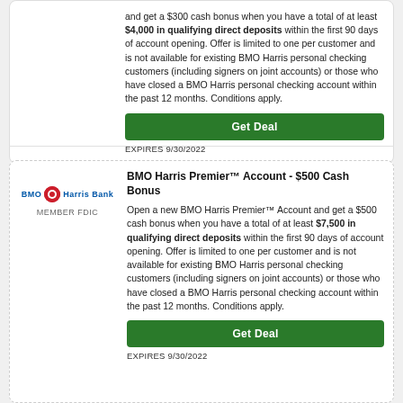and get a $300 cash bonus when you have a total of at least $4,000 in qualifying direct deposits within the first 90 days of account opening. Offer is limited to one per customer and is not available for existing BMO Harris personal checking customers (including signers on joint accounts) or those who have closed a BMO Harris personal checking account within the past 12 months. Conditions apply.
Get Deal
EXPIRES 9/30/2022
[Figure (logo): BMO Harris Bank logo with red circle icon and MEMBER FDIC text]
BMO Harris Premier™ Account - $500 Cash Bonus
Open a new BMO Harris Premier™ Account and get a $500 cash bonus when you have a total of at least $7,500 in qualifying direct deposits within the first 90 days of account opening. Offer is limited to one per customer and is not available for existing BMO Harris personal checking customers (including signers on joint accounts) or those who have closed a BMO Harris personal checking account within the past 12 months. Conditions apply.
Get Deal
EXPIRES 9/30/2022